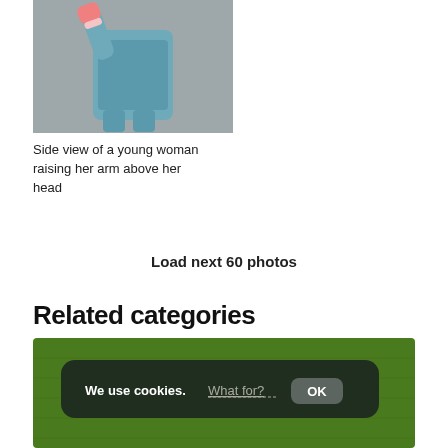[Figure (photo): Side view of a young woman in a blue dress with pink gloves, raising her arm above her head, against a gray background]
Side view of a young woman raising her arm above her head
Load next 60 photos
Related categories
[Figure (screenshot): Photograph of a person lying on grass with a cookie consent banner overlay reading: We use cookies. What for? OK]